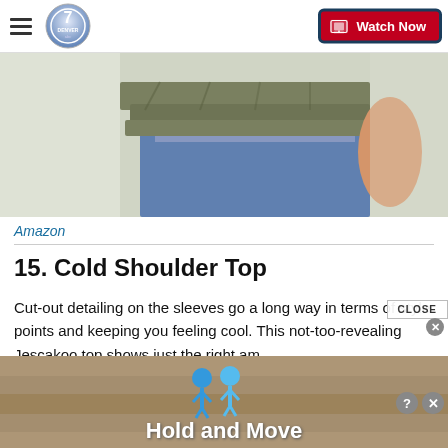Denver 7 — Watch Now
[Figure (photo): Close-up of a person wearing a layered olive/khaki ruffled top over blue jeans, cropped at torso level]
Amazon
15. Cold Shoulder Top
Cut-out detailing on the sleeves go a long way in terms of style points and keeping you feeling cool. This not-too-revealing Jescakoo top shows just the right am...
[Figure (infographic): Ad overlay at bottom: blue cartoon figures and text 'Hold and Move' on a tan/wooden background with a close button]